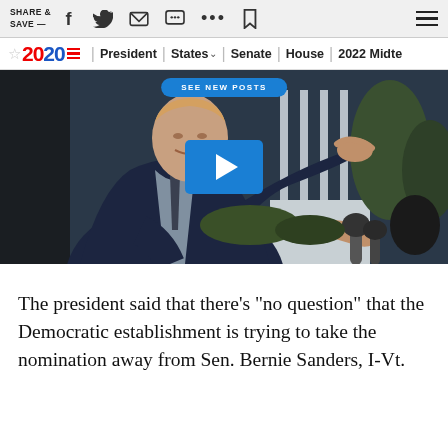SHARE & SAVE —
2020 | President | States | Senate | House | 2022 Midterms
[Figure (photo): Video thumbnail showing a person in a navy suit gesturing while speaking outdoors, with a blue play button overlay and 'SEE NEW POSTS' banner at the top]
The president said that there's "no question" that the Democratic establishment is trying to take the nomination away from Sen. Bernie Sanders, I-Vt.